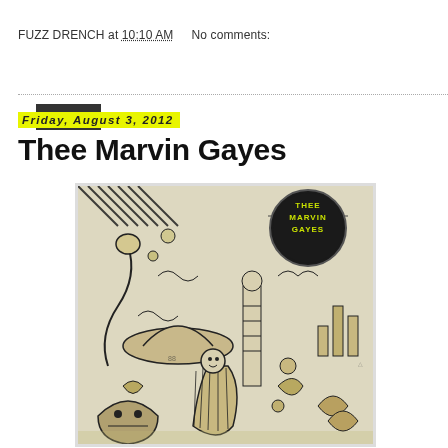FUZZ DRENCH at 10:10 AM   No comments:
Share
Friday, August 3, 2012
Thee Marvin Gayes
[Figure (illustration): Album cover art for Thee Marvin Gayes — dense black and white psychedelic illustration with various surreal characters, creatures, and scenes, featuring a circular badge in the upper right with 'THEE MARVIN GAYES' text in yellow-green on black background.]